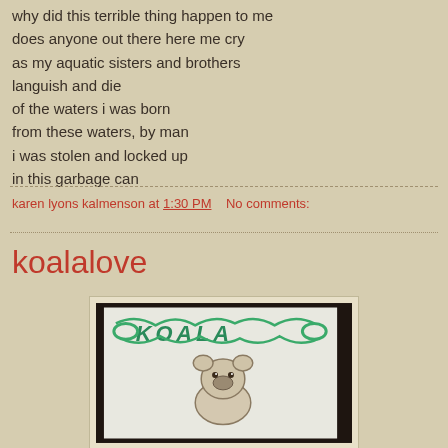why did this terrible thing happen to me
does anyone out there here me cry
as my aquatic sisters and brothers
languish and die
of the waters i was born
from these waters, by man
i was stolen and locked up
in this garbage can
karen lyons kalmenson at 1:30 PM    No comments:
koalalove
[Figure (illustration): A hand-drawn illustration on white paper showing a koala bear drawn in pencil/colored pencil, with green decorative text or lettering at the top of the paper reading 'KOALA' or similar, with floral/leaf decorations in green crayon or marker.]